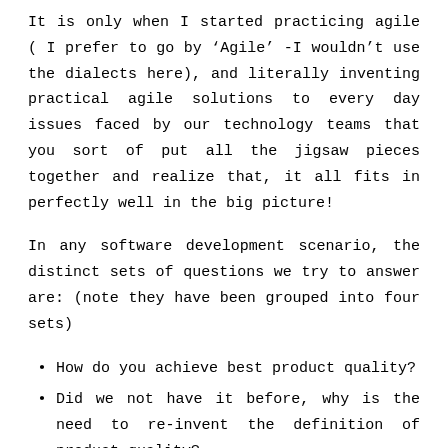It is only when I started practicing agile ( I prefer to go by 'Agile' -I wouldn't use the dialects here), and literally inventing practical agile solutions to every day issues faced by our technology teams that you sort of put all the jigsaw pieces together and realize that, it all fits in perfectly well in the big picture!
In any software development scenario, the distinct sets of questions we try to answer are: (note they have been grouped into four sets)
How do you achieve best product quality?
Did we not have it before, why is the need to re-invent the definition of product quality?